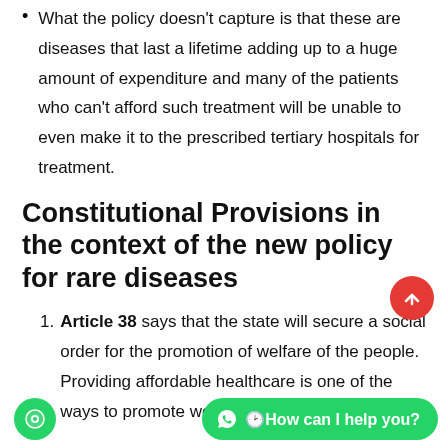What the policy doesn't capture is that these are diseases that last a lifetime adding up to a huge amount of expenditure and many of the patients who can't afford such treatment will be unable to even make it to the prescribed tertiary hospitals for treatment.
Constitutional Provisions in the context of the new policy for rare diseases
Article 38 says that the state will secure a social order for the promotion of welfare of the people. Providing affordable healthcare is one of the ways to promote welfare.